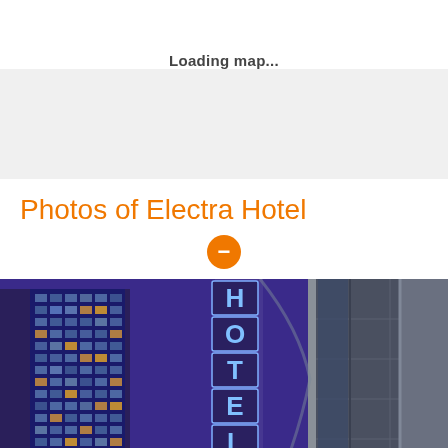Loading map...
Photos of Electra Hotel
[Figure (photo): Nighttime exterior photo of a hotel building showing a vertical neon sign spelling 'HOTEL' in blue/white letters against a deep purple/blue sky, with a modern glass office building visible on the left and concrete building facade on the right.]